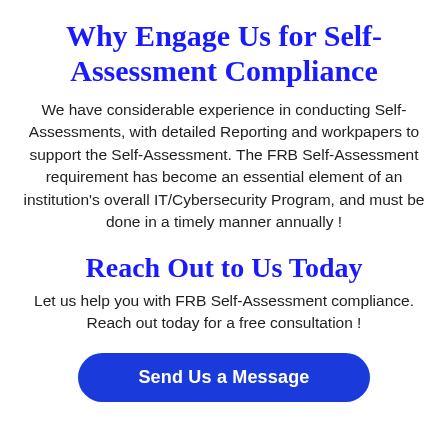Why Engage Us for Self-Assessment Compliance
We have considerable experience in conducting Self-Assessments, with detailed Reporting and workpapers to support the Self-Assessment. The FRB Self-Assessment requirement has become an essential element of an institution's overall IT/Cybersecurity Program, and must be done in a timely manner annually !
Reach Out to Us Today
Let us help you with FRB Self-Assessment compliance. Reach out today for a free consultation !
Send Us a Message